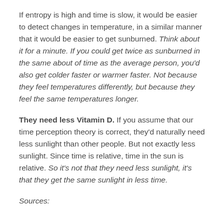If entropy is high and time is slow, it would be easier to detect changes in temperature, in a similar manner that it would be easier to get sunburned. Think about it for a minute. If you could get twice as sunburned in the same about of time as the average person, you'd also get colder faster or warmer faster. Not because they feel temperatures differently, but because they feel the same temperatures longer.
They need less Vitamin D. If you assume that our time perception theory is correct, they'd naturally need less sunlight than other people. But not exactly less sunlight. Since time is relative, time in the sun is relative. So it's not that they need less sunlight, it's that they get the same sunlight in less time.
Sources: